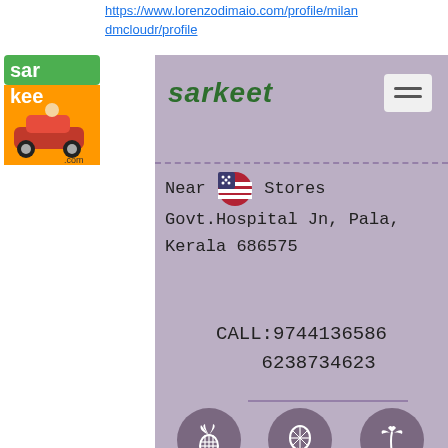https://www.lorenzodimaio.com/profile/milan
dmcloudr/profile
[Figure (logo): Sarkeet.com logo with colorful illustration of a car and characters]
[Figure (screenshot): Sarkeet website mobile profile page showing address, contact numbers, social icons]
Near [US flag emoji] Stores Govt.Hospital Jn, Pala, Kerala 686575
CALL:9744136586
6238734623
[Figure (illustration): Three circular icons: pineapple, hot air balloon, palm tree]
[Figure (logo): Facebook 'f' icon in white]